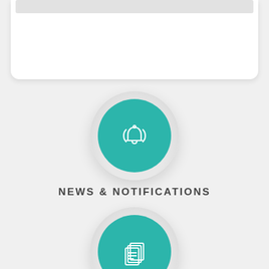[Figure (illustration): Partial view of a white card/panel at the top of the page with a light gray bar inside]
[Figure (illustration): Teal circular icon button with a ringing bell icon (with sound waves), on a light gray shadowed circle background]
NEWS & NOTIFICATIONS
[Figure (illustration): Teal circular icon button with a stacked documents/pages icon, on a light gray shadowed circle background]
AGENDAS & MINUTES